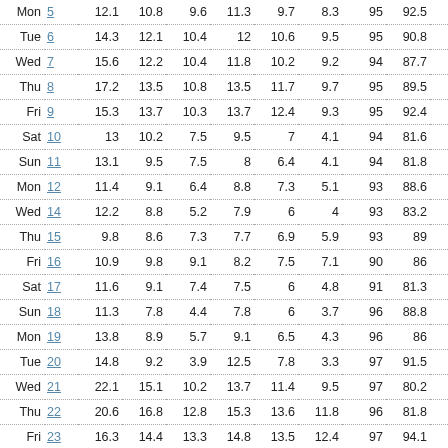| Day | Date | C1 | C2 | C3 | C4 | C5 | C6 | C7 | C8 | C9 | C10 |
| --- | --- | --- | --- | --- | --- | --- | --- | --- | --- | --- | --- |
| Mon | 5 | 12.1 | 10.8 | 9.6 | 11.3 | 9.7 | 8.3 | 95 | 92.5 | 88 |  |
| Tue | 6 | 14.3 | 12.1 | 10.4 | 12 | 10.6 | 9.5 | 95 | 90.8 | 83 | 1 |
| Wed | 7 | 15.6 | 12.2 | 10.4 | 11.8 | 10.2 | 9.2 | 94 | 87.7 | 71 | 1 |
| Thu | 8 | 17.2 | 13.5 | 10.8 | 13.5 | 11.7 | 9.7 | 95 | 89.5 | 76 | 1 |
| Fri | 9 | 15.3 | 13.7 | 10.3 | 13.7 | 12.4 | 9.3 | 95 | 92.4 | 84 | 1 |
| Sat | 10 | 13 | 10.2 | 7.5 | 9.5 | 7 | 4.1 | 94 | 81.6 | 56 | 1 |
| Sun | 11 | 13.1 | 9.5 | 7.5 | 8 | 6.4 | 4.1 | 94 | 81.8 | 57 | 1 |
| Mon | 12 | 11.4 | 9.1 | 6.4 | 8.8 | 7.3 | 5.1 | 93 | 88.6 | 80 | 1 |
| Wed | 14 | 12.2 | 8.8 | 5.2 | 7.9 | 6 | 4 | 93 | 83.2 | 69 | 1 |
| Thu | 15 | 9.8 | 8.6 | 7.3 | 7.7 | 6.9 | 5.9 | 93 | 89 | 84 | 1 |
| Fri | 16 | 10.9 | 9.8 | 9.1 | 8.2 | 7.5 | 7.1 | 90 | 86 | 81 | 1 |
| Sat | 17 | 11.6 | 9.1 | 7.4 | 7.5 | 6 | 4.8 | 91 | 81.3 | 64 | 1 |
| Sun | 18 | 11.3 | 7.8 | 4.4 | 7.8 | 6 | 3.7 | 96 | 88.8 | 73 | 1 |
| Mon | 19 | 13.8 | 8.9 | 5.7 | 9.1 | 6.5 | 4.3 | 96 | 86 | 60 | 1 |
| Tue | 20 | 14.8 | 9.2 | 3.9 | 12.5 | 7.8 | 3.3 | 97 | 91.5 | 82 | 1 |
| Wed | 21 | 22.1 | 15.1 | 10.2 | 13.7 | 11.4 | 9.5 | 97 | 80.2 | 55 | 1 |
| Thu | 22 | 20.6 | 16.8 | 12.8 | 15.3 | 13.6 | 11.8 | 96 | 81.8 | 66 | 1 |
| Fri | 23 | 16.3 | 14.4 | 13.3 | 14.8 | 13.5 | 12.4 | 97 | 94.1 | 89 | 1 |